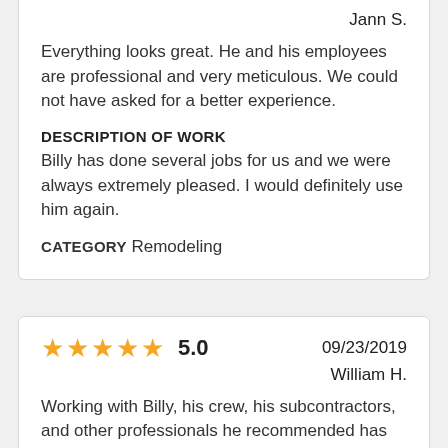Jann S.
Everything looks great. He and his employees are professional and very meticulous. We could not have asked for a better experience.
DESCRIPTION OF WORK
Billy has done several jobs for us and we were always extremely pleased. I would definitely use him again.
CATEGORY Remodeling
[Figure (other): 5 gold stars rating with score 5.0 and date 09/23/2019]
William H.
Working with Billy, his crew, his subcontractors, and other professionals he recommended has been a great pleasure. They all care about the work they do and our